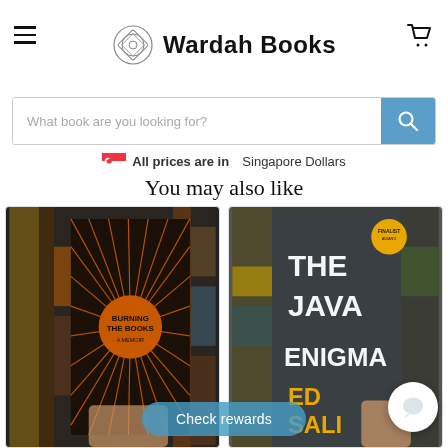Wardah Books
[Figure (screenshot): Search bar with placeholder text 'What book are you looking for?' and a blue search button]
All prices are in  Singapore Dollars
You may also like
[Figure (photo): Book cover 'Burning the Books' held up in a bookstore - dark cover with orange sunburst pattern]
[Figure (photo): Book cover 'The Java Enigma' by Ed Sali held up in a bookstore - dark grey cover with large white and gold text]